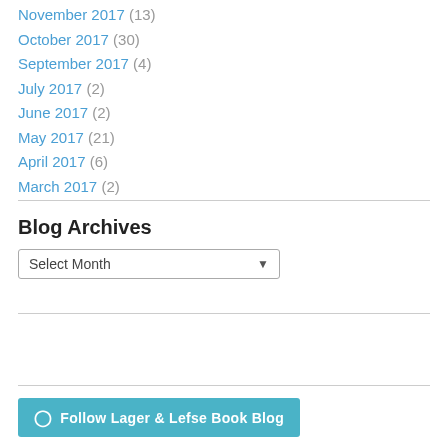November 2017 (13)
October 2017 (30)
September 2017 (4)
July 2017 (2)
June 2017 (2)
May 2017 (21)
April 2017 (6)
March 2017 (2)
Blog Archives
Select Month
Follow Lager & Lefse Book Blog